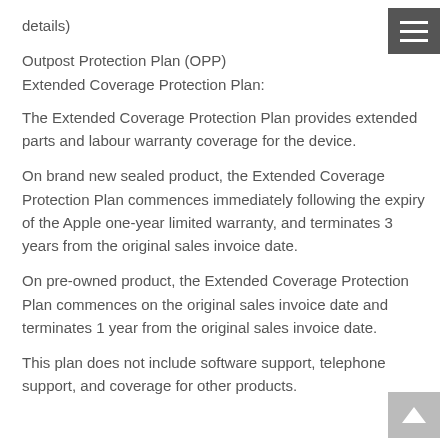details)
Outpost Protection Plan (OPP)
Extended Coverage Protection Plan:
The Extended Coverage Protection Plan provides extended parts and labour warranty coverage for the device.
On brand new sealed product, the Extended Coverage Protection Plan commences immediately following the expiry of the Apple one-year limited warranty, and terminates 3 years from the original sales invoice date.
On pre-owned product, the Extended Coverage Protection Plan commences on the original sales invoice date and terminates 1 year from the original sales invoice date.
This plan does not include software support, telephone support, and coverage for other products.